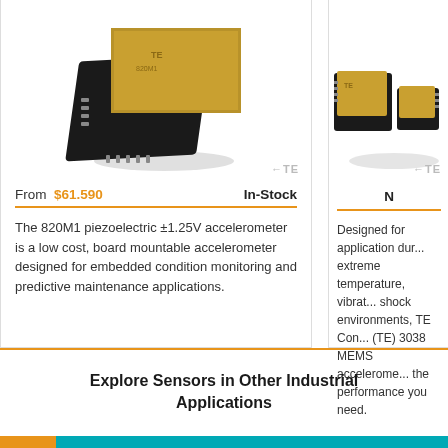[Figure (photo): 820M1 piezoelectric accelerometer sensor chip - gold and black SMD component]
From $61.590   In-Stock
The 820M1 piezoelectric ±1.25V accelerometer is a low cost, board mountable accelerometer designed for embedded condition monitoring and predictive maintenance applications.
[Figure (photo): TE 3038 MEMS accelerometer sensors - two small gold and black SMD components]
N...
Designed for application dur... extreme temperature, vibrat... shock environments, TE Con... (TE) 3038 MEMS accelerome... the performance you need.
Explore Sensors in Other Industrial Applications